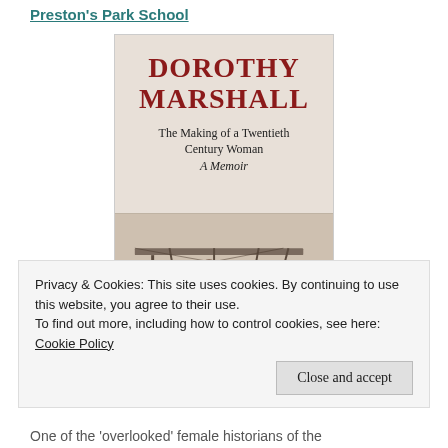Preston's Park School
[Figure (illustration): Book cover for 'Dorothy Marshall: The Making of a Twentieth Century Woman — A Memoir', showing large red serif title text at top, subtitle below, and a vintage sepia photograph of an early biplane aircraft with a figure visible at the bottom.]
Privacy & Cookies: This site uses cookies. By continuing to use this website, you agree to their use.
To find out more, including how to control cookies, see here: Cookie Policy
Close and accept
One of the 'overlooked' female historians of the